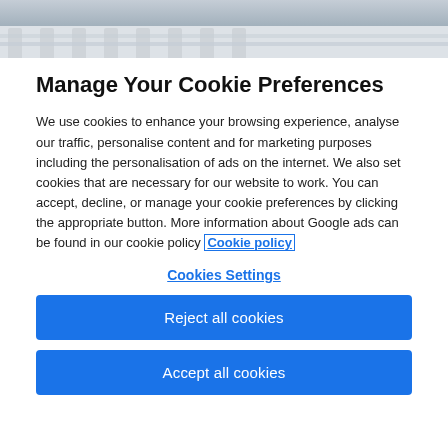[Figure (photo): Photo strip showing a house exterior with white fence and garden in the background]
Manage Your Cookie Preferences
We use cookies to enhance your browsing experience, analyse our traffic, personalise content and for marketing purposes including the personalisation of ads on the internet. We also set cookies that are necessary for our website to work. You can accept, decline, or manage your cookie preferences by clicking the appropriate button. More information about Google ads can be found in our cookie policy Cookie policy
Cookies Settings
Reject all cookies
Accept all cookies